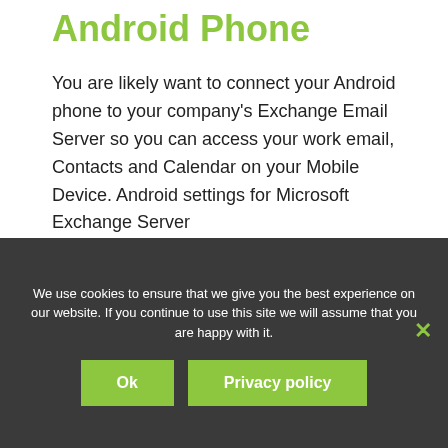Android Phone
You are likely want to connect your Android phone to your company's Exchange Email Server so you can access your work email, Contacts and Calendar on your Mobile Device. Android settings for Microsoft Exchange Server
Preparation
Setting up Microsoft Exchange email account on your device is a very easy task.
We use cookies to ensure that we give you the best experience on our website. If you continue to use this site we will assume that you are happy with it.